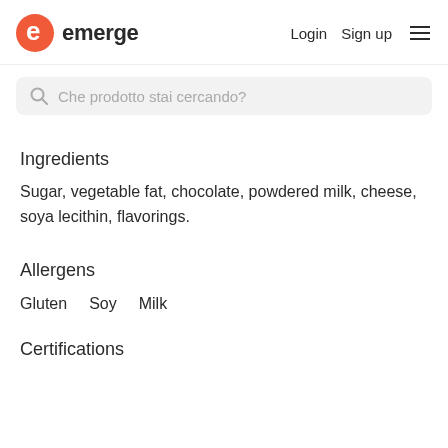emerge  Login  Sign up  ☰
Che prodotto stai cercando?
Ingredients
Sugar, vegetable fat, chocolate, powdered milk, cheese, soya lecithin, flavorings.
Allergens
Gluten  Soy  Milk
Certifications